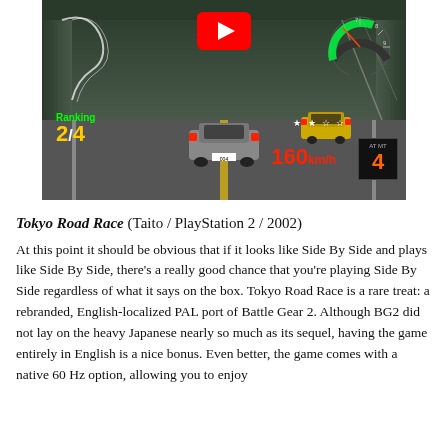[Figure (screenshot): YouTube video thumbnail/screenshot of Tokyo Road Race (PS2 racing game), showing a racing car going through a tunnel with HUD elements: Ranking 2/4 in green/yellow, speed 160 km/h in red, gear 4 indicator, star rating, and a YouTube play button overlay. A yellow car is visible in the background.]
Tokyo Road Race (Taito / PlayStation 2 / 2002)
At this point it should be obvious that if it looks like Side By Side and plays like Side By Side, there’s a really good chance that you’re playing Side By Side regardless of what it says on the box. Tokyo Road Race is a rare treat: a rebranded, English-localized PAL port of Battle Gear 2. Although BG2 did not lay on the heavy Japanese nearly so much as its sequel, having the game entirely in English is a nice bonus. Even better, the game comes with a native 60 Hz option, allowing you to enjoy